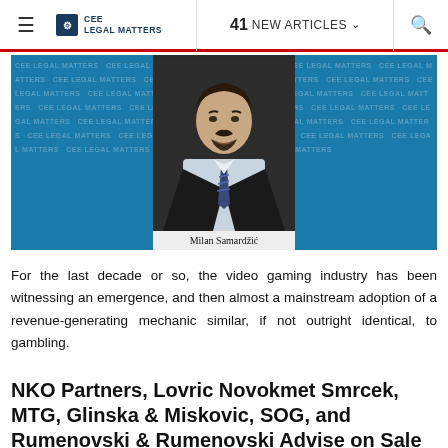≡  CEE LEGAL MATTERS  |  41 NEW ARTICLES ∨  🔍
[Figure (photo): Professional headshot of Milan Samardžić in a dark suit and striped tie, set against a teal/blue CEE Legal Matters branded background with watermark pattern. Name label 'Milan Samardžić' appears at the bottom of the photo.]
For the last decade or so, the video gaming industry has been witnessing an emergence, and then almost a mainstream adoption of a revenue-generating mechanic similar, if not outright identical, to gambling.
NKO Partners, Lovric Novokmet Smrcek, MTG, Glinska & Miskovic, SOG, and Rumenovski & Rumenovski Advise on Sale of